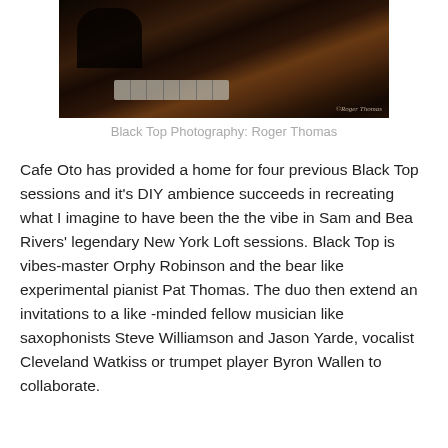[Figure (photo): Dark concert/performance photograph showing musicians at a keyboard/piano in a dimly lit venue, with drum kit visible in background. Watermark reads '©Roger Thomas' in bottom right corner.]
Black Top Photography: Roger Thomas
Cafe Oto has provided a home for four previous Black Top sessions and it's DIY ambience succeeds in recreating what I imagine to have been the the vibe in Sam and Bea Rivers' legendary New York Loft sessions. Black Top is vibes-master Orphy Robinson and the bear like experimental pianist Pat Thomas. The duo then extend an invitations to a like -minded fellow musician like saxophonists Steve Williamson and Jason Yarde, vocalist Cleveland Watkiss or trumpet player Byron Wallen to collaborate.